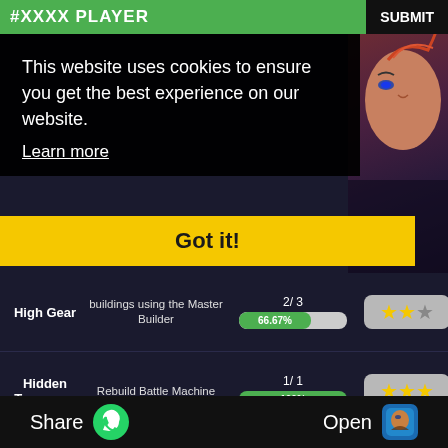#XXXX PLAYER  SUBMIT
This website uses cookies to ensure you get the best experience on our website.
Learn more
Got it!
| Achievement | Description | Progress | Stars |
| --- | --- | --- | --- |
| High Gear | buildings using the Master Builder | 2/ 3
66.67% | 2/3 stars |
| Hidden Treasures | Rebuild Battle Machine | 1/ 1
100% | 3/3 stars |
| Games Champion | Earn 50000 points in Clan Games | 26125/ 50000
52.25% | 1/3 stars |
Share  Open